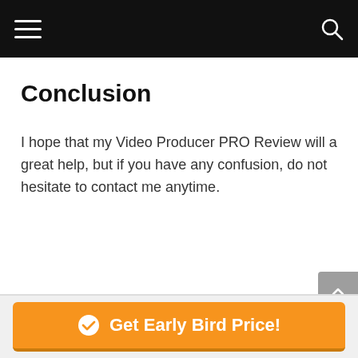navigation bar with hamburger menu and search icon
Conclusion
I hope that my Video Producer PRO Review will a great help, but if you have any confusion, do not hesitate to contact me anytime.
Get Early Bird Price!